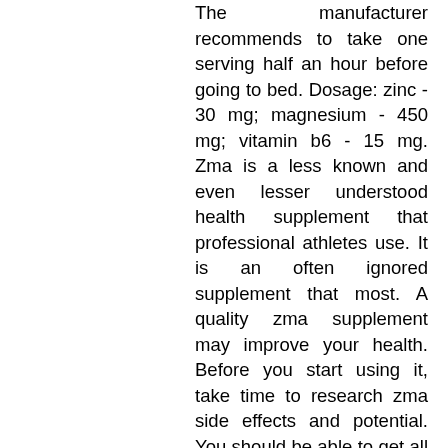The manufacturer recommends to take one serving half an hour before going to bed. Dosage: zinc - 30 mg; magnesium - 450 mg; vitamin b6 - 15 mg. Zma is a less known and even lesser understood health supplement that professional athletes use. It is an often ignored supplement that most. A quality zma supplement may improve your health. Before you start using it, take time to research zma side effects and potential. You should be able to get all the magnesium you need by eating a varied and balanced diet. If you take magnesium supplements, do not take too much as this could. Convenient capsules of zma. Our zma complex comes in a handy capsule form perfect to have beside your bed to take before sleep, this also removes any need for. Working out and running can take a toll. Find out the benefits of nighttime recovery with zma supplements. Plus, enter my giveaway for a $45. Zma helps increase your gains. Maybe fairly obvious but the